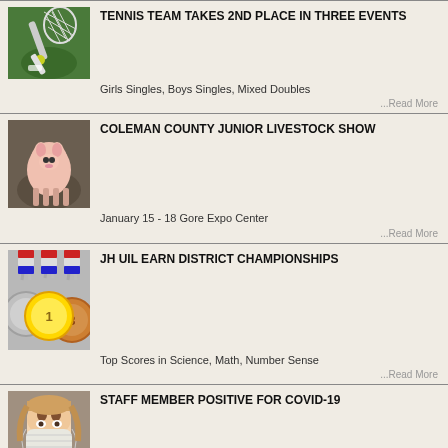[Figure (photo): Person holding a tennis racket with a tennis ball]
TENNIS TEAM TAKES 2ND PLACE IN THREE EVENTS
Girls Singles, Boys Singles, Mixed Doubles
...Read More
[Figure (photo): A pink pig standing in a field]
COLEMAN COUNTY JUNIOR LIVESTOCK SHOW
January 15 - 18 Gore Expo Center
...Read More
[Figure (photo): Three medals with red, white, and blue ribbons]
JH UIL EARN DISTRICT CHAMPIONSHIPS
Top Scores in Science, Math, Number Sense
...Read More
[Figure (photo): Person wearing a medical mask, close up on face]
STAFF MEMBER POSITIVE FOR COVID-19
Contact Tracing Completed
...Read More
BIG COUNTRY FFA BANQUET